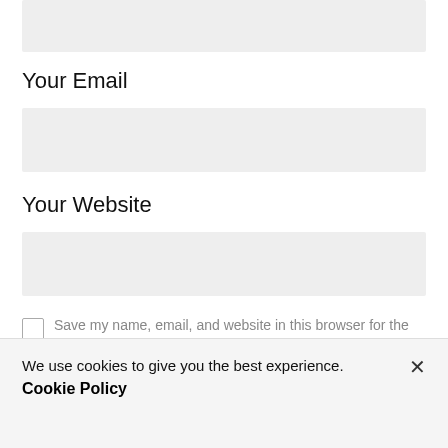[Figure (screenshot): Empty input field (top, partially visible)]
Your Email
[Figure (screenshot): Empty email input field]
Your Website
[Figure (screenshot): Empty website input field]
Save my name, email, and website in this browser for the next
We use cookies to give you the best experience.
Cookie Policy